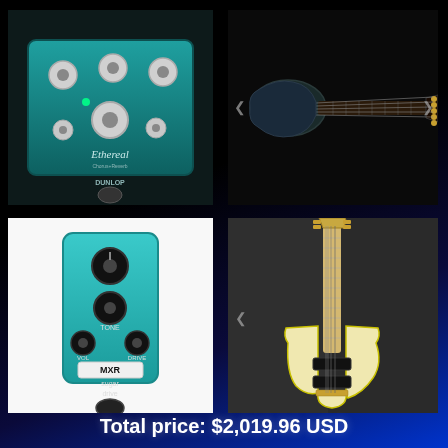[Figure (photo): MXR Ethereal Chorus+Reverb teal guitar effects pedal with multiple white knobs on dark background]
[Figure (photo): Dark blue/black 5-string bass guitar (Ibanez style) on dark background, shown horizontally]
[Figure (photo): MXR Sugar Drive mini overdrive pedal in teal/aqua color with VOL and DRIVE knobs on white background]
[Figure (photo): Cream/ivory colored 4-string bass guitar hanging vertically on dark background with gold hardware]
Total price: $2,019.96 USD